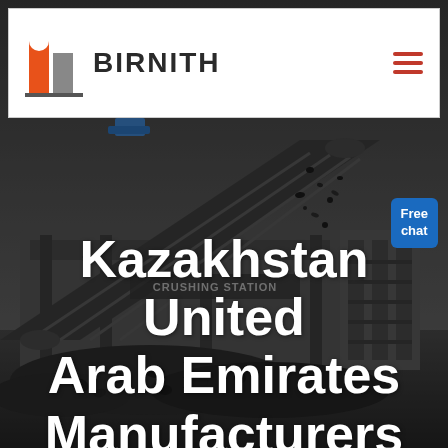[Figure (logo): Birnith company logo with orange and grey building icon and brand name BIRNITH with red underline, plus hamburger menu icon on the right]
[Figure (photo): Industrial background photo showing a crushing station with heavy machinery, conveyor belts, and gravel/coal in dark grey tones]
[Figure (other): Blue Free chat button badge with a customer service representative icon]
Kazakhstan United Arab Emirates Manufacturers Supplier